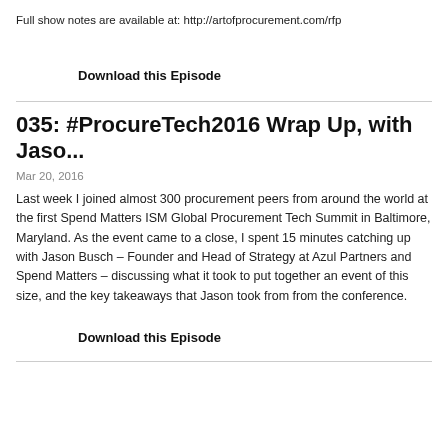Full show notes are available at: http://artofprocurement.com/rfp
Download this Episode
035: #ProcureTech2016 Wrap Up, with Jaso...
Mar 20, 2016
Last week I joined almost 300 procurement peers from around the world at the first Spend Matters ISM Global Procurement Tech Summit in Baltimore, Maryland. As the event came to a close, I spent 15 minutes catching up with Jason Busch – Founder and Head of Strategy at Azul Partners and Spend Matters – discussing what it took to put together an event of this size, and the key takeaways that Jason took from from the conference.
Download this Episode